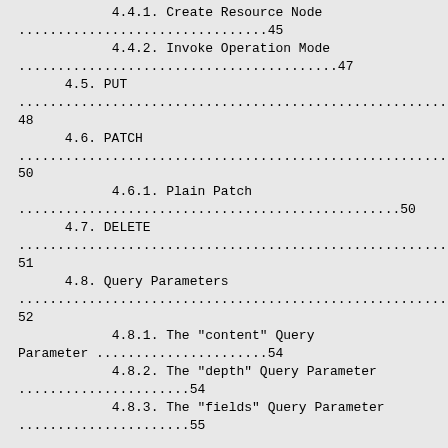4.4.1. Create Resource Node ........................................45
4.4.2. Invoke Operation Mode ........................................47
4.5. PUT .................................................................................................................48
4.6. PATCH ..............................................................................................................50
4.6.1. Plain Patch .................................................50
4.7. DELETE ............................................................................................................51
4.8. Query Parameters .......................................................52
4.8.1. The "content" Query Parameter ......................54
4.8.2. The "depth" Query Parameter ......................54
4.8.3. The "fields" Query Parameter ......................55